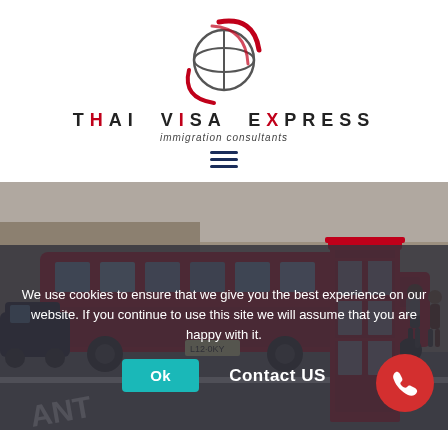[Figure (logo): Thai Visa Express logo — globe icon with red swoosh, text 'THAI VISA EXPRESS immigration consultants']
[Figure (photo): London street scene with red double-decker buses and a red telephone box, pedestrians on the pavement]
We use cookies to ensure that we give you the best experience on our website. If you continue to use this site we will assume that you are happy with it.
Ok
Contact US